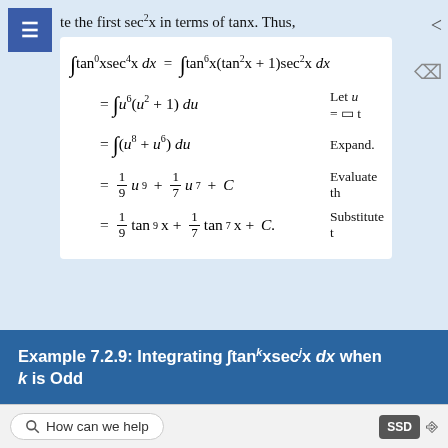te the first sec²x in terms of tanx. Thus,
Example 7.2.9: Integrating ∫tan^k x sec^j x dx when k is Odd
How can we help